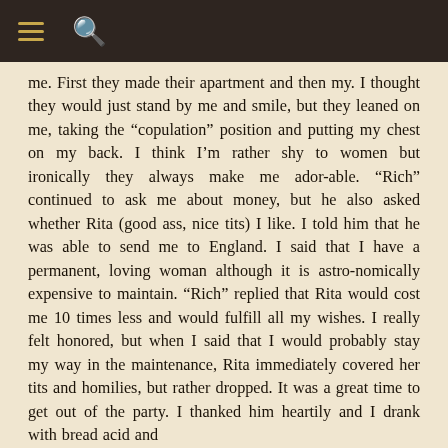≡  🔍
me. First they made their apartment and then my. I thought they would just stand by me and smile, but they leaned on me, taking the "copulation" position and putting my chest on my back. I think I'm rather shy to women but ironically they always make me adorable. "Rich" continued to ask me about money, but he also asked whether Rita (good ass, nice tits) I like. I told him that he was able to send me to England. I said that I have a permanent, loving woman although it is astronomically expensive to maintain. "Rich" replied that Rita would cost me 10 times less and would fulfill all my wishes. I really felt honored, but when I said that I would probably stay my way in the maintenance, Rita immediately covered her tits and homilies, but rather dropped. It was a great time to get out of the party. I thanked him heartily and I drank with bread acid and